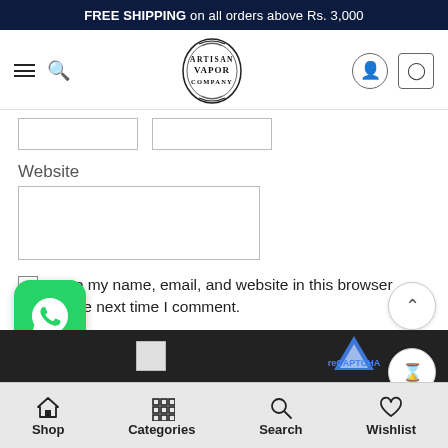FREE SHIPPING on all orders above Rs. 3,000
[Figure (logo): Artisan Vapor Company logo — ornate oval badge with decorative border]
Website
Save my name, email, and website in this browser for the next time I comment.
Shop  Categories  Search  Wishlist